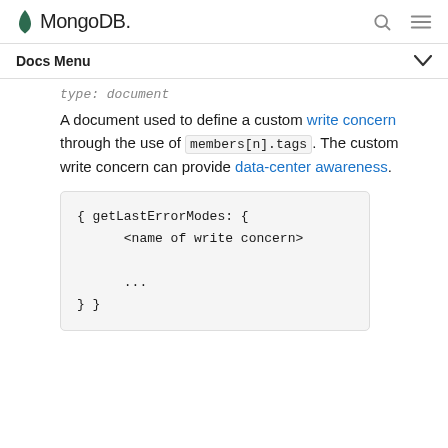MongoDB
Docs Menu
type: document
A document used to define a custom write concern through the use of members[n].tags. The custom write concern can provide data-center awareness.
{ getLastErrorModes: {
      <name of write concern>
      ...
} }